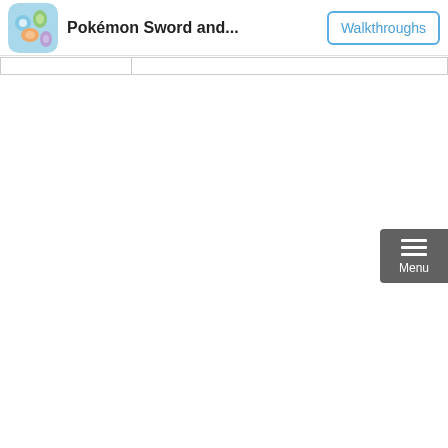Pokémon Sword and... | Walkthroughs
|  |  |
[Figure (other): Menu button with hamburger icon and 'Menu' label on dark gray background, positioned at bottom right]